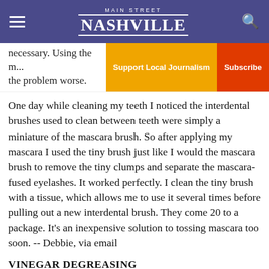MAIN STREET NASHVILLE
necessary. Using the m... the problem worse.
Support Local Journalism  Subscribe
One day while cleaning my teeth I noticed the interdental brushes used to clean between teeth were simply a miniature of the mascara brush. So after applying my mascara I used the tiny brush just like I would the mascara brush to remove the tiny clumps and separate the mascara-fused eyelashes. It worked perfectly. I clean the tiny brush with a tissue, which allows me to use it several times before pulling out a new interdental brush. They come 20 to a package. It's an inexpensive solution to tossing mascara too soon. -- Debbie, via email
VINEGAR DEGREASING
Dear Readers: After you cook hamburgers, you can remove the splattered grease easily. Just spray the stovetop with vinegar and then wipe it down for a shiny, clean result. -- Heloise
FLOWER VASES
Dear Heloise: Instead of throwing out flower vases after the flowers have dried, please drop them off at your local flower